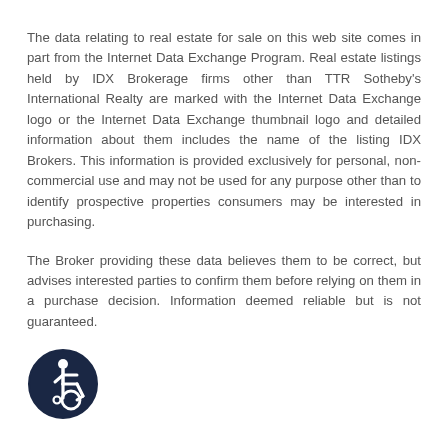The data relating to real estate for sale on this web site comes in part from the Internet Data Exchange Program. Real estate listings held by IDX Brokerage firms other than TTR Sotheby's International Realty are marked with the Internet Data Exchange logo or the Internet Data Exchange thumbnail logo and detailed information about them includes the name of the listing IDX Brokers. This information is provided exclusively for personal, non-commercial use and may not be used for any purpose other than to identify prospective properties consumers may be interested in purchasing.
The Broker providing these data believes them to be correct, but advises interested parties to confirm them before relying on them in a purchase decision. Information deemed reliable but is not guaranteed.
[Figure (logo): Accessibility icon: circular dark navy badge with wheelchair accessibility symbol in white]